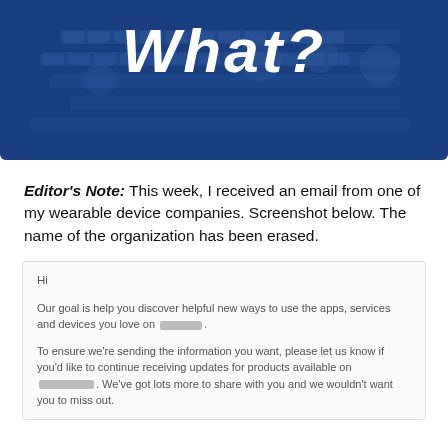[Figure (illustration): Blue-tinted hero image of a keyboard with bold italic white text reading 'What?']
Editor's Note: This week, I received an email from one of my wearable device companies. Screenshot below. The name of the organization has been erased.
[Figure (screenshot): Screenshot of an email. Text reads: Hi [blank]. Our goal is help you discover helpful new ways to use the apps, services and devices you love on [redacted]. To ensure we're sending the information you want, please let us know if you'd like to continue receiving updates for products available on [redacted]. We've got lots more to share with you and we wouldn't want you to miss out.]